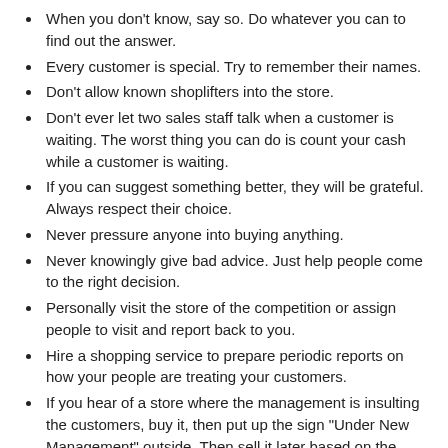When you don't know, say so. Do whatever you can to find out the answer.
Every customer is special. Try to remember their names.
Don't allow known shoplifters into the store.
Don't ever let two sales staff talk when a customer is waiting. The worst thing you can do is count your cash while a customer is waiting.
If you can suggest something better, they will be grateful. Always respect their choice.
Never pressure anyone into buying anything.
Never knowingly give bad advice. Just help people come to the right decision.
Personally visit the store of the competition or assign people to visit and report back to you.
Hire a shopping service to prepare periodic reports on how your people are treating your customers.
If you hear of a store where the management is insulting the customers, buy it, then put up the sign "Under New Management" outside. Then sell it later based on the increased sales.